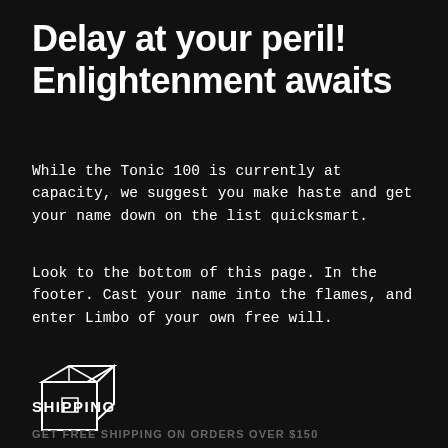Delay at your peril! Enlightenment awaits
While the Tonic 100 is currently at capacity, we suggest you make haste and get your name down on the list quicksmart.
Look to the bottom of this page. In the footer. Cast your name into the flames, and enter Limbo of your own free will.
[Figure (illustration): White outline icon of a cardboard shipping box on black background]
SHIPPING
GET FREE SHIPPING ON ORDERS OVER $150